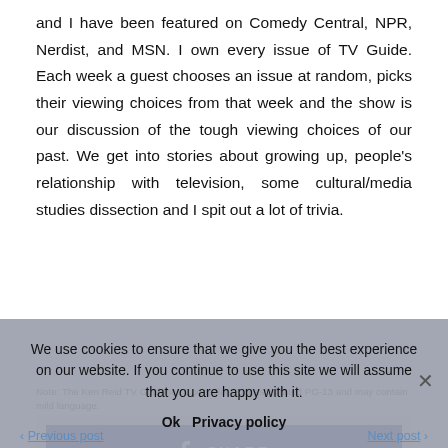and I have been featured on Comedy Central, NPR, Nerdist, and MSN. I own every issue of TV Guide. Each week a guest chooses an issue at random, picks their viewing choices from that week and the show is our discussion of the tough viewing choices of our past. We get into stories about growing up, people's relationship with television, some cultural/media studies dissection and I spit out a lot of trivia.
Note: The Ken Reid TV Guidance Counselor Podcast is rated PG-13 and may contain mild language.
[Figure (other): Facebook Share button (blue) and Twitter Tweet button (light blue) in a gray social sharing box]
We use cookies to ensure that we give you the best experience on our website. If you continue to use this site we will assume that you are happy with it.
Ok   Privacy policy
< Previous post   Next post >